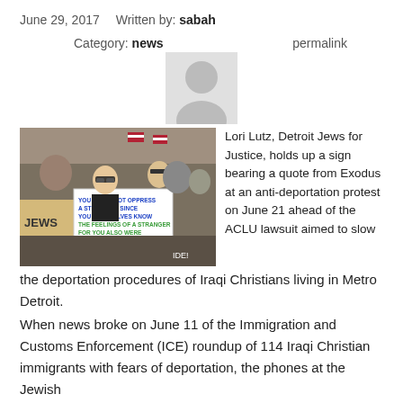June 29, 2017   Written by: sabah
Category: news   permalink
[Figure (photo): Avatar/user icon placeholder — grey silhouette of a person on light background]
[Figure (photo): Protest photo: A crowd of people at an anti-deportation rally. A woman in the foreground holds a sign reading 'YOU SHALL NOT OPPRESS A STRANGER, SINCE YOU YOURSELVES KNOW THE FEELINGS OF A STRANGER FOR YOU ALSO WERE STRANGERS IN THE LAND OF EGYPT'. American flags visible in background. A cardboard sign on the left reads 'JEWS'.]
Lori Lutz, Detroit Jews for Justice, holds up a sign bearing a quote from Exodus at an anti-deportation protest on June 21 ahead of the ACLU lawsuit aimed to slow the deportation procedures of Iraqi Christians living in Metro Detroit.
When news broke on June 11 of the Immigration and Customs Enforcement (ICE) roundup of 114 Iraqi Christian immigrants with fears of deportation, the phones at the Jewish